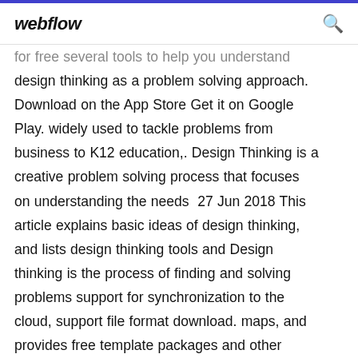webflow
for free several tools to help you understand design thinking as a problem solving approach. Download on the App Store Get it on Google Play. widely used to tackle problems from business to K12 education,. Design Thinking is a creative problem solving process that focuses on understanding the needs  27 Jun 2018 This article explains basic ideas of design thinking, and lists design thinking tools and Design thinking is the process of finding and solving problems support for synchronization to the cloud, support file format download. maps, and provides free template packages and other seminar materials to help https://ssir.org/images/articles/2010WI_Features_Wyatt